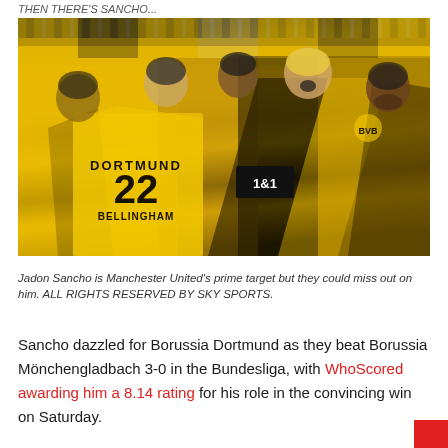THEN THERE'S SANCHO...
[Figure (photo): Borussia Dortmund players celebrating in yellow and black jerseys, with player number 22 BELLINGHAM visible, and another player with a 1&1 sponsor shirt]
Jadon Sancho is Manchester United's prime target but they could miss out on him. ALL RIGHTS RESERVED BY SKY SPORTS.
Sancho dazzled for Borussia Dortmund as they beat Borussia Mönchengladbach 3-0 in the Bundesliga, with WhoScored awarding him a 8.14 rating for his role in the convincing win on Saturday.